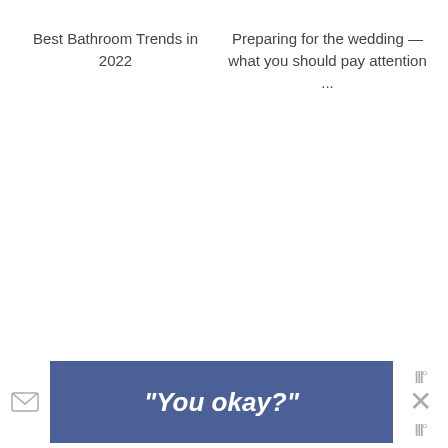Best Bathroom Trends in 2022
Preparing for the wedding — what you should pay attention ...
[Figure (screenshot): Blue banner with italic bold text reading "You okay?" with an email icon on the left, wavy icon and X icon on the right sidebar]